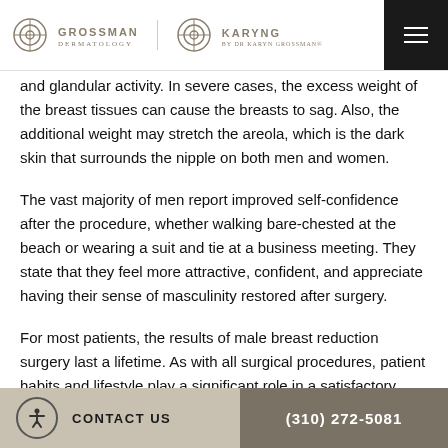GROSSMAN DERMATOLOGY | KARYNG BY DR KARYN GROSSMAN
and glandular activity. In severe cases, the excess weight of the breast tissues can cause the breasts to sag. Also, the additional weight may stretch the areola, which is the dark skin that surrounds the nipple on both men and women.
The vast majority of men report improved self-confidence after the procedure, whether walking bare-chested at the beach or wearing a suit and tie at a business meeting. They state that they feel more attractive, confident, and appreciate having their sense of masculinity restored after surgery.
For most patients, the results of male breast reduction surgery last a lifetime. As with all surgical procedures, patient habits and lifestyle play a significant role in a satisfactory outcome. You can get all the facts during your initial consultation at Grossman
CONTACT US | (310) 272-5081